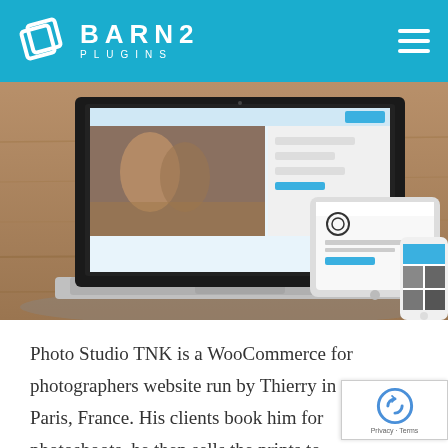BARN2 PLUGINS
[Figure (screenshot): Screenshot of a photo studio website displayed on a MacBook laptop, iPad tablet, and iPhone smartphone on a wooden desk surface.]
Photo Studio TNK is a WooCommerce for photographers website run by Thierry in Paris, France. His clients book him for photoshoots, he then sells the prints to them on his WooCommerce website. Selling prints is a big part